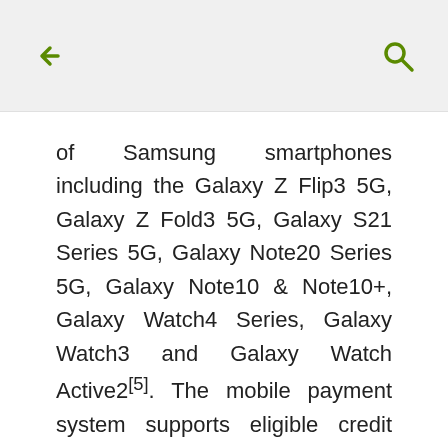← (back) | (search)
of Samsung smartphones including the Galaxy Z Flip3 5G, Galaxy Z Fold3 5G, Galaxy S21 Series 5G, Galaxy Note20 Series 5G, Galaxy Note10 & Note10+, Galaxy Watch4 Series, Galaxy Watch3 and Galaxy Watch Active2[5]. The mobile payment system supports eligible credit and debit cards from more than 80 banks and credit unions across Canada.[6]
Samsung Pay is available for download today from the Samsung Apps Galaxy Store and Google Play. For more information on how to set up Samsung Pay on your Galaxy device and add your eligible TD Card(s)